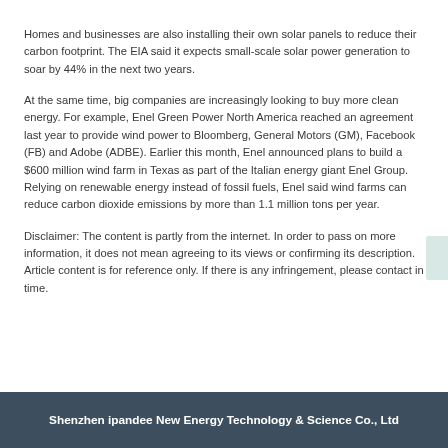Homes and businesses are also installing their own solar panels to reduce their carbon footprint. The EIA said it expects small-scale solar power generation to soar by 44% in the next two years.
At the same time, big companies are increasingly looking to buy more clean energy. For example, Enel Green Power North America reached an agreement last year to provide wind power to Bloomberg, General Motors (GM), Facebook (FB) and Adobe (ADBE). Earlier this month, Enel announced plans to build a $600 million wind farm in Texas as part of the Italian energy giant Enel Group. Relying on renewable energy instead of fossil fuels, Enel said wind farms can reduce carbon dioxide emissions by more than 1.1 million tons per year.
Disclaimer: The content is partly from the internet. In order to pass on more information, it does not mean agreeing to its views or confirming its description. Article content is for reference only. If there is any infringement, please contact in time.
Shenzhen ipandee New Energy Technology & Science Co., Ltd